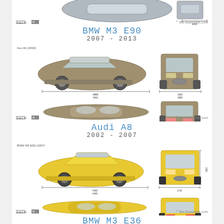[Figure (engineering-diagram): BMW M3 E90 multi-view blueprint showing side, top, front views (partial, top of page)]
BMW M3 E90
2007 - 2013
[Figure (engineering-diagram): Audi A8 (2002) multi-view blueprint showing side, top, front, rear views in brown/grey]
Audi A8
2002 - 2007
[Figure (engineering-diagram): BMW M3 E36 (1997) multi-view blueprint showing side, top, front, rear views in yellow]
BMW M3 E36